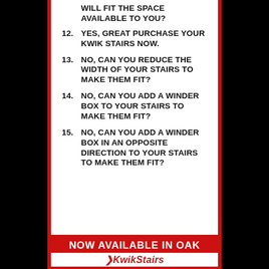WILL FIT THE SPACE AVAILABLE TO YOU?
12. YES, GREAT PURCHASE YOUR KWIK STAIRS NOW.
13. NO, CAN YOU REDUCE THE WIDTH OF YOUR STAIRS TO MAKE THEM FIT?
14. NO, CAN YOU ADD A WINDER BOX TO YOUR STAIRS TO MAKE THEM FIT?
15. NO, CAN YOU ADD A WINDER BOX IN AN OPPOSITE DIRECTION TO YOUR STAIRS TO MAKE THEM FIT?
NOW AVAILABLE IN OAK